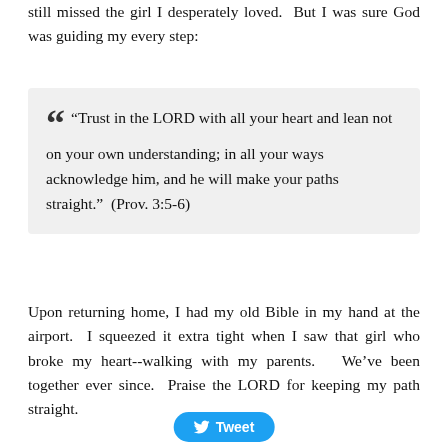still missed the girl I desperately loved.  But I was sure God was guiding my every step:
“ “Trust in the LORD with all your heart and lean not on your own understanding; in all your ways acknowledge him, and he will make your paths straight.”  (Prov. 3:5-6)
Upon returning home, I had my old Bible in my hand at the airport.  I squeezed it extra tight when I saw that girl who broke my heart--walking with my parents.   We’ve been together ever since.  Praise the LORD for keeping my path straight.
[Figure (other): Twitter Tweet button with bird logo]